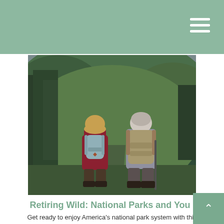[Figure (photo): Two hikers with backpacks viewed from behind, standing in front of a green mountainous landscape with trees. One hiker wears a red jacket and carries a light blue backpack; the other has grey hair and carries a large tan backpack.]
Retiring Wild: National Parks and You
Get ready to enjoy America's national park system with this helpful article.